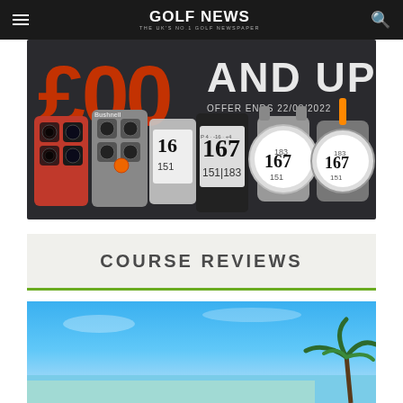GOLF NEWS — THE UK'S NO.1 GOLF NEWSPAPER
[Figure (photo): Bushnell golf rangefinders and GPS watches advertisement banner with text '£00 AND UP' and 'OFFER ENDS 22/08/2022']
COURSE REVIEWS
[Figure (photo): Partial view of a golf course with blue sky and a palm tree in the bottom right corner]